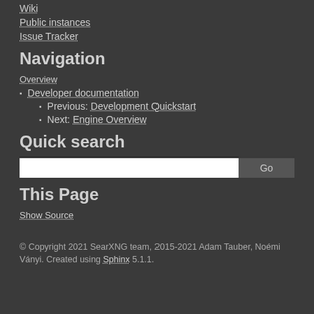Wiki
Public instances
Issue Tracker
Navigation
Overview
Developer documentation
Previous: Development Quickstart
Next: Engine Overview
Quick search
This Page
Show Source
© Copyright 2021 SearXNG team, 2015-2021 Adam Tauber, Noémi Ványi. Created using Sphinx 5.1.1.